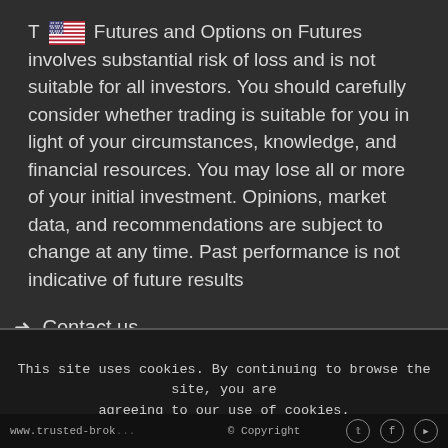T [US flag] Futures and Options on Futures involves substantial risk of loss and is not suitable for all investors. You should carefully consider whether trading is suitable for you in light of your circumstances, knowledge, and financial resources. You may lose all or more of your initial investment. Opinions, market data, and recommendations are subject to change at any time. Past performance is not indicative of future results
→ Contact us
→ About us
This site uses cookies. By continuing to browse the site, you are agreeing to our use of cookies.
OK | Learn more
www.trusted-brok... © Copyright